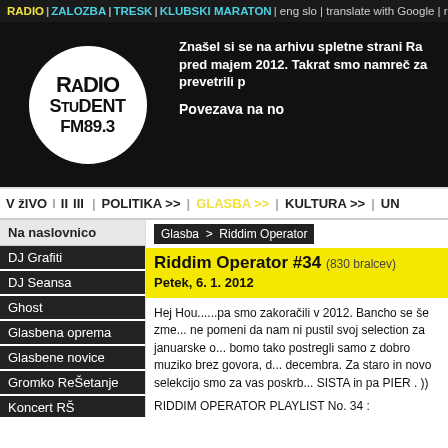RADIO | ZALOZBA| TRESK| KLUBSKI MARATON | eng slo | translate with Google | radio
[Figure (logo): Radio Student FM 89.3 logo - white circle with black text on black background]
Znašel si se na arhivu spletne strani Ra... pred majem 2012. Takrat smo namreč za... prevetrili p...
Povezava na no...
V žIVO  I  II  III  |  POLITIKA >>  |  GLASBA >>  |  KULTURA >>  |  UN
Na naslovnico
DJ Grafiti
DJ Seansa
Ghost
Glasbena oprema
Glasbene novice
Gromko ReŠetanje
Koncert RŠ
Novotarnica
Glasba  >  Riddim Operator
Riddim Operator #34 (830 bralcev)
Petek, 6. 1. 2012
Hej Hou......pa smo zakoračili v 2012. Bancho se še zme... ne pomeni da nam ni pustil svoj selection za januarske o... bomo tako postregli samo z dobro muziko brez govora, d... decembra. Za staro in novo selekcijo smo za vas poskrb... SISTA in pa PIER . ))
RIDDIM OPERATOR PLAYLIST No. 34 :